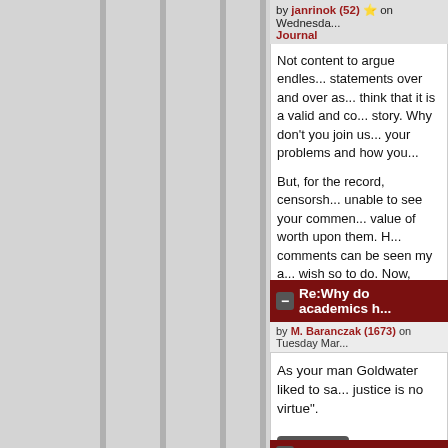by janrinok (52) ⭐ on Wednesda... Journal
Not content to argue endles... statements over and over as... think that it is a valid and co... story. Why don't you join us... your problems and how you...
But, for the record, censorsh... unable to see your commen... value of worth upon them. H... comments can be seen my a... wish so to do. Now, would y... intelligently why you feel tha...
Parent
Re:Why do academics h...
by M. Baranczak (1673) on Tuesday Mar...
As your man Goldwater liked to sa... justice is no virtue".
Parent